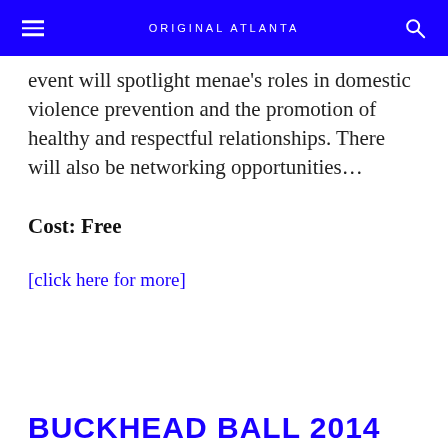ORIGINAL ATLANTA
event will spotlight menae's roles in domestic violence prevention and the promotion of healthy and respectful relationships. There will also be networking opportunities...
Cost: Free
[click here for more]
BUCKHEAD BALL 2014